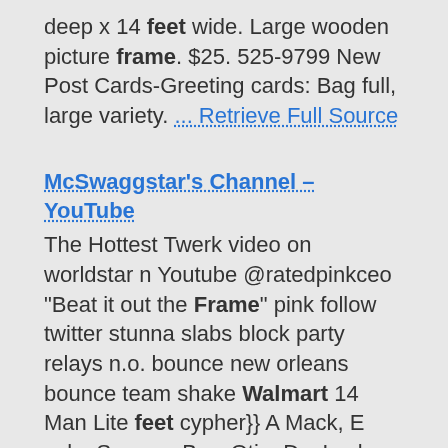deep x 14 feet wide. Large wooden picture frame. $25. 525-9799 New Post Cards-Greeting cards: Bag full, large variety. ... Retrieve Full Source
McSwaggstar's Channel – YouTube
The Hottest Twerk video on worldstar n Youtube @ratedpinkceo "Beat it out the Frame" pink follow twitter stunna slabs block party relays n.o. bounce new orleans bounce team shake Walmart 14 Man Lite feet cypher}} A Mack, E solo, Swagga Boy, Qtip, DocLock, Mickey, Sonic, Sha Smoove ... View Video